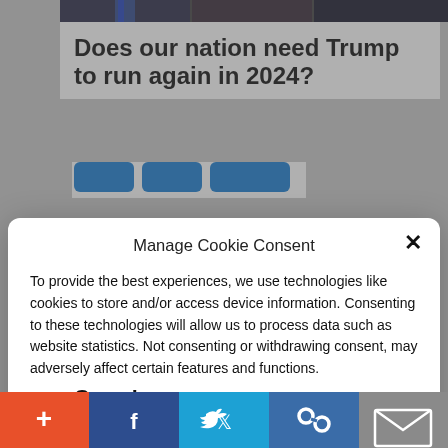[Figure (screenshot): Partial screenshot of a news/poll page showing a question about Trump running in 2024, with Yes/No/Not Sure voting buttons partially visible]
Manage Cookie Consent
To provide the best experiences, we use technologies like cookies to store and/or access device information. Consenting to these technologies will allow us to process data such as website statistics. Not consenting or withdrawing consent, may adversely affect certain features and functions.
Accept
Cookie Policy  Privacy Policy
Crazy!
[Figure (infographic): Bottom share bar with add (+), Facebook, Twitter, chain-link, and email share buttons]